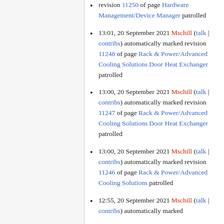revision 11250 of page Hardware Management/Device Manager patrolled
13:01, 20 September 2021 Mschill (talk | contribs) automatically marked revision 11248 of page Rack & Power/Advanced Cooling Solutions Door Heat Exchanger patrolled
13:00, 20 September 2021 Mschill (talk | contribs) automatically marked revision 11247 of page Rack & Power/Advanced Cooling Solutions Door Heat Exchanger patrolled
13:00, 20 September 2021 Mschill (talk | contribs) automatically marked revision 11246 of page Rack & Power/Advanced Cooling Solutions patrolled
12:55, 20 September 2021 Mschill (talk | contribs) automatically marked